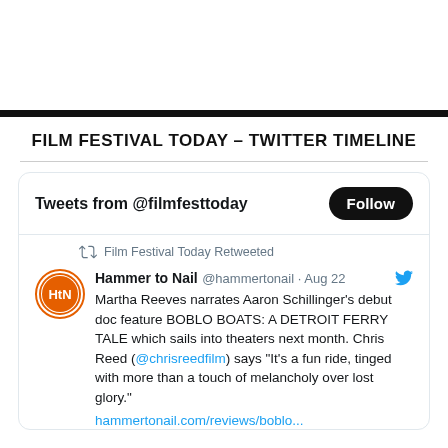FILM FESTIVAL TODAY – TWITTER TIMELINE
[Figure (screenshot): Twitter timeline widget showing tweets from @filmfesttoday with a Follow button, and a retweet from Hammer to Nail (@hammertonail) dated Aug 22 about Martha Reeves narrating Aaron Schillinger's debut doc BOBLO BOATS: A DETROIT FERRY TALE]
Film Festival Today Retweeted
Hammer to Nail @hammertonail · Aug 22 – Martha Reeves narrates Aaron Schillinger's debut doc feature BOBLO BOATS: A DETROIT FERRY TALE which sails into theaters next month. Chris Reed (@chrisreedfilm) says "It's a fun ride, tinged with more than a touch of melancholy over lost glory."
hammertonail.com/reviews/boblo...